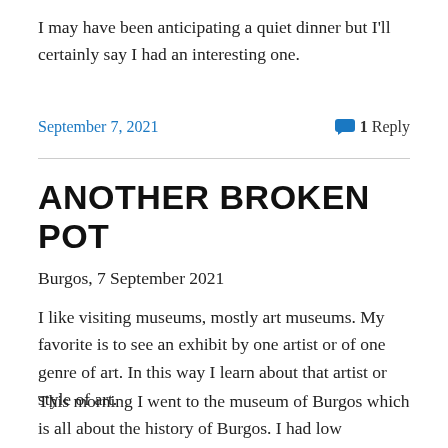I may have been anticipating a quiet dinner but I'll certainly say I had an interesting one.
September 7, 2021    1 Reply
ANOTHER BROKEN POT
Burgos, 7 September 2021
I like visiting museums, mostly art museums. My favorite is to see an exhibit by one artist or of one genre of art. In this way I learn about that artist or style of art.
This morning I went to the museum of Burgos which is all about the history of Burgos. I had low expectations but the entrance fee was only a euro. Pretty soon I entered what I